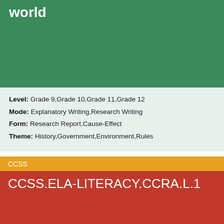world
Level: Grade 9,Grade 10,Grade 11,Grade 12
Mode: Explanatory Writing,Research Writing
Form: Research Report,Cause-Effect
Theme: History,Government,Environment,Rules
CCSS
CCSS.ELA-LITERACY.CCRA.L.1